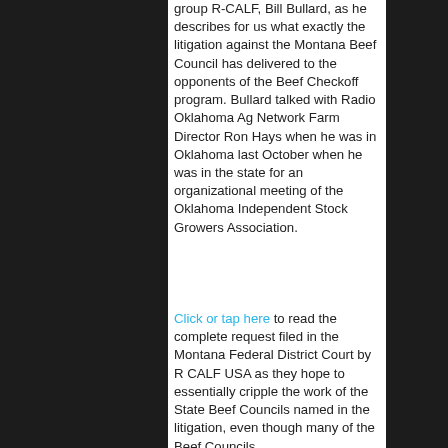group R-CALF, Bill Bullard, as he describes for us what exactly the litigation against the Montana Beef Council has delivered to the opponents of the Beef Checkoff program. Bullard talked with Radio Oklahoma Ag Network Farm Director Ron Hays when he was in Oklahoma last October when he was in the state for an organizational meeting of the Oklahoma Independent Stock Growers Association.
Click or tap here to read the complete request filed in the Montana Federal District Court by R CALF USA as they hope to essentially cripple the work of the State Beef Councils named in the litigation, even though many of the Beef Councils